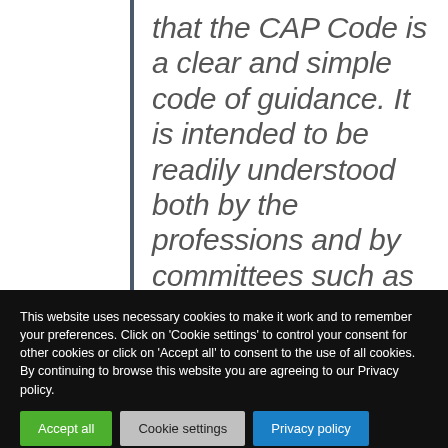that the CAP Code is a clear and simple code of guidance. It is intended to be readily understood both by the professions and by committees such as the PCC of the General Chiropractic Council
This website uses necessary cookies to make it work and to remember your preferences. Click on 'Cookie settings' to control your consent for other cookies or click on 'Accept all' to consent to the use of all cookies. By continuing to browse this website you are agreeing to our Privacy policy.